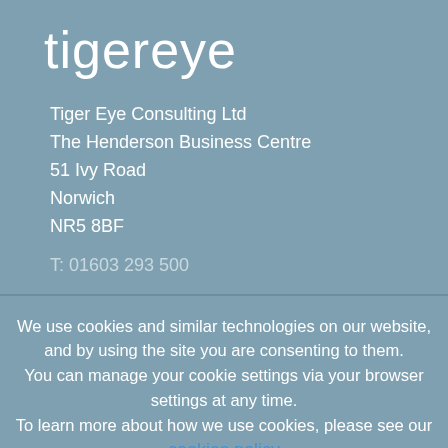tigereye
Tiger Eye Consulting Ltd
The Henderson Business Centre
51 Ivy Road
Norwich
NR5 8BF
T: 01603 293 500
We use cookies and similar technologies on our website, and by using the site you are consenting to them. You can manage your cookie settings via your browser settings at any time. To learn more about how we use cookies, please see our cookies policy
Settings
Accept and Close